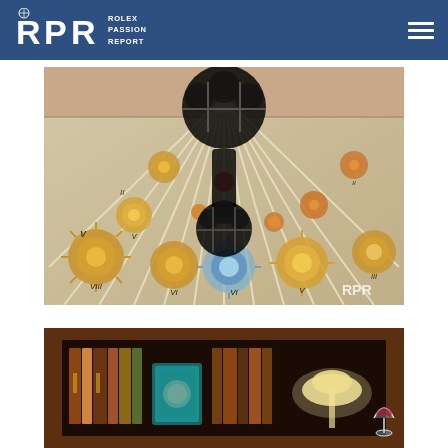RPR ROLEX PASSION REPORT
[Figure (photo): Marble floor with decorative sun/compass rose inlays and Roman numerals, overlaid with a Rolex crown/winding crown graphic. RPR watermark in bottom right corner.]
[Figure (photo): Interior bookcase or cabinet with books, decorative items, and a lamp partially visible.]